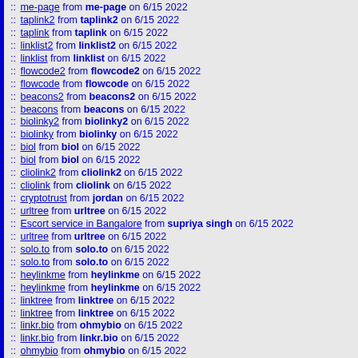:: me-page from me-page on 6/15 2022
:: taplink2 from taplink2 on 6/15 2022
:: taplink from taplink on 6/15 2022
:: linklist2 from linklist2 on 6/15 2022
:: linklist from linklist on 6/15 2022
:: flowcode2 from flowcode2 on 6/15 2022
:: flowcode from flowcode on 6/15 2022
:: beacons2 from beacons2 on 6/15 2022
:: beacons from beacons on 6/15 2022
:: biolinky2 from biolinky2 on 6/15 2022
:: biolinky from biolinky on 6/15 2022
:: biol from biol on 6/15 2022
:: biol from biol on 6/15 2022
:: cliolink2 from cliolink2 on 6/15 2022
:: cliolink from cliolink on 6/15 2022
:: cryptotrust from jordan on 6/15 2022
:: urltree from urltree on 6/15 2022
:: Escort service in Bangalore from supriya singh on 6/15 2022
:: urltree from urltree on 6/15 2022
:: solo.to from solo.to on 6/15 2022
:: solo.to from solo.to on 6/15 2022
:: heylinkme from heylinkme on 6/15 2022
:: heylinkme from heylinkme on 6/15 2022
:: linktree from linktree on 6/15 2022
:: linktree from linktree on 6/15 2022
:: linkr.bio from ohmybio on 6/15 2022
:: linkr.bio from linkr.bio on 6/15 2022
:: ohmybio from ohmybio on 6/15 2022
:: ohmybio from ohmybio on 6/15 2022
:: spinsukatoto from spinsukatoto on 6/15 2022